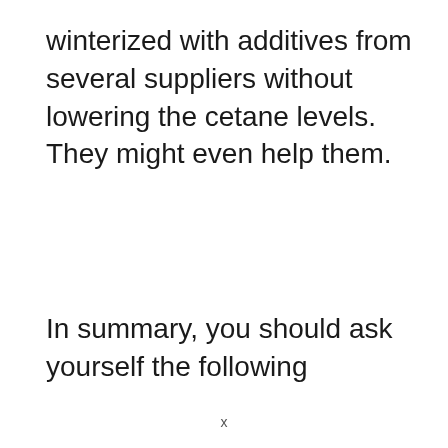winterized with additives from several suppliers without lowering the cetane levels. They might even help them.
In summary, you should ask yourself the following
x